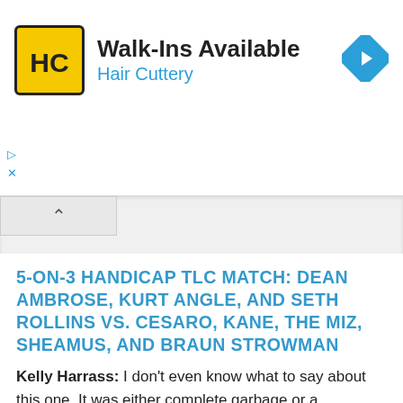[Figure (screenshot): Hair Cuttery advertisement banner with logo, 'Walk-Ins Available' headline, and navigation arrow icon]
5-ON-3 HANDICAP TLC MATCH: DEAN AMBROSE, KURT ANGLE, AND SETH ROLLINS VS. CESARO, KANE, THE MIZ, SHEAMUS, AND BRAUN STROWMAN
Kelly Harrass: I don't even know what to say about this one. It was either complete garbage or a masterpiece parody of WWE tropes. There was the double nostalgia pop for both Angle's return and the Shield reunion. There was the injury and return